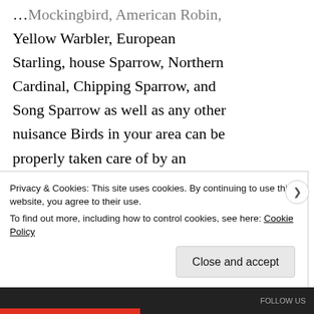…Mockingbird, American Robin, Yellow Warbler, European Starling, house Sparrow, Northern Cardinal, Chipping Sparrow, and Song Sparrow as well as any other nuisance Birds in your area can be properly taken care of by an Expert.
Dead Animal Removal Process.
When a animal is sick or injured they will seek safe harbor to…
Privacy & Cookies: This site uses cookies. By continuing to use this website, you agree to their use.
To find out more, including how to control cookies, see here: Cookie Policy